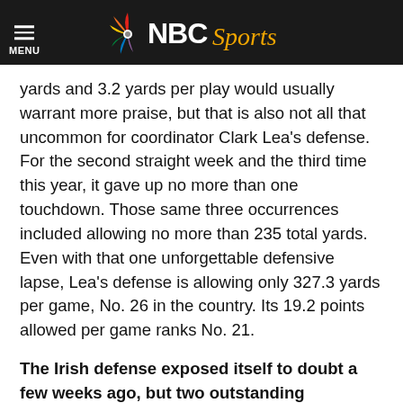NBC Sports - MENU
yards and 3.2 yards per play would usually warrant more praise, but that is also not all that uncommon for coordinator Clark Lea's defense. For the second straight week and the third time this year, it gave up no more than one touchdown. Those same three occurrences included allowing no more than 235 total yards. Even with that one unforgettable defensive lapse, Lea's defense is allowing only 327.3 yards per game, No. 26 in the country. Its 19.2 points allowed per game ranks No. 21.
The Irish defense exposed itself to doubt a few weeks ago, but two outstanding showings since then have reinforced its consistently stellar standard.
“They have been real good all season,” Kelly said. “We have one bad performance, we had a bad day, and certainly they rectified that with the way they’ve played